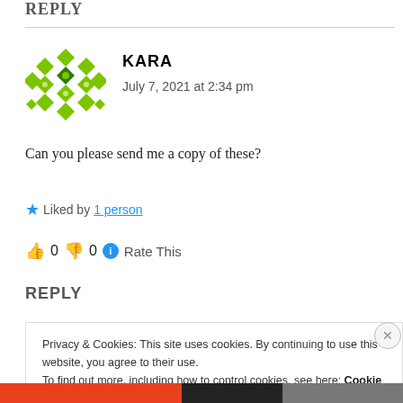REPLY
[Figure (illustration): Green diamond pattern avatar for user Kara]
KARA
July 7, 2021 at 2:34 pm
Can you please send me a copy of these?
★ Liked by 1 person
👍 0 👎 0 ℹ Rate This
REPLY
Privacy & Cookies: This site uses cookies. By continuing to use this website, you agree to their use.
To find out more, including how to control cookies, see here: Cookie Policy
I accept!